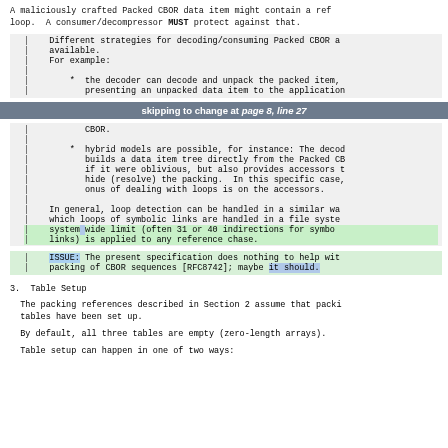A maliciously crafted Packed CBOR data item might contain a ref loop. A consumer/decompressor MUST protect against that.
Different strategies for decoding/consuming Packed CBOR a available.
For example:

* the decoder can decode and unpack the packed item, presenting an unpacked data item to the application
skipping to change at page 8, line 27
CBOR.

* hybrid models are possible, for instance: The decod builds a data item tree directly from the Packed CB if it were oblivious, but also provides accessors t hide (resolve) the packing. In this specific case, onus of dealing with loops is on the accessors.
In general, loop detection can be handled in a similar wa which loops of symbolic links are handled in a file syste system wide limit (often 31 or 40 indirections for symbo links) is applied to any reference chase.
ISSUE: The present specification does nothing to help wit packing of CBOR sequences [RFC8742]; maybe it should.
3.  Table Setup
The packing references described in Section 2 assume that packi tables have been set up.
By default, all three tables are empty (zero-length arrays).
Table setup can happen in one of two ways: